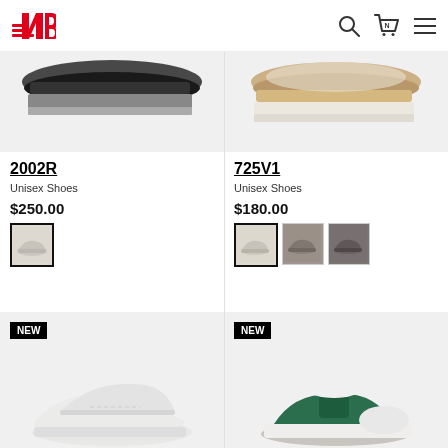[Figure (logo): New Balance logo - red NB letters with motion lines]
[Figure (screenshot): Product image of 2002R sneaker, top portion visible, light beige/grey background]
2002R
Unisex Shoes
$250.00
[Figure (photo): Color swatch thumbnail of 2002R in beige/light color]
[Figure (screenshot): Product image of 725V1 sneaker, top portion visible, tan/beige shoe on light background]
725V1
Unisex Shoes
$180.00
[Figure (photo): Three color swatch thumbnails of 725V1: beige, grey/brown, dark brown]
[Figure (photo): New product with NEW badge, white/light sneaker partially visible from below]
[Figure (photo): New product with NEW badge, green and white sneaker partially visible from below]